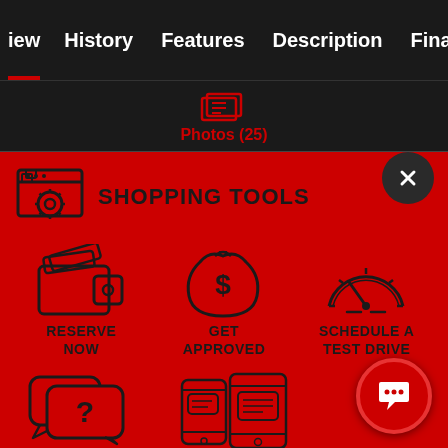iew | History | Features | Description | Financing | Specs
[Figure (screenshot): Photos (25) icon with shopping cart image]
SHOPPING TOOLS
RESERVE NOW
GET APPROVED
SCHEDULE A TEST DRIVE
ASK A QUESTION
TEXT LINK TO PHONE